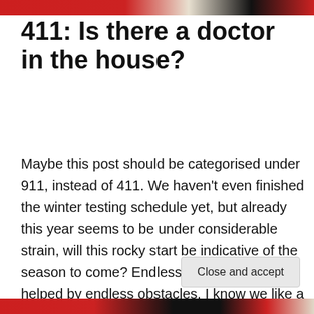[Figure (photo): Top decorative image strip with red/orange and dark tones, appears to be a cropped photo of a racing car]
411: Is there a doctor in the house?
Maybe this post should be categorised under 911, instead of 411. We haven't even finished the winter testing schedule yet, but already this year seems to be under considerable strain, will this rocky start be indicative of the season to come? Endless waiting is not helped by endless obstacles. I know we like a good gossip about new cars, driver changes and questionable livery choices, but I also
Privacy & Cookies: This site uses cookies. By continuing to use this website, you agree to their use.
To find out more, including how to control cookies, see here: Cookie Policy
Close and accept